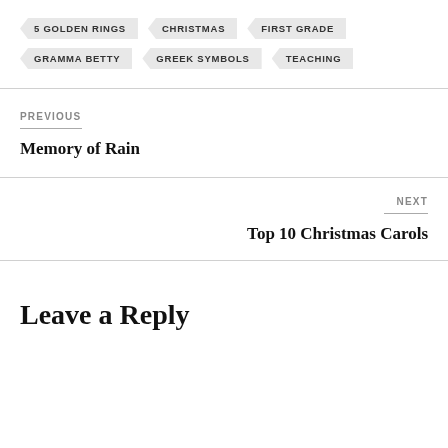5 GOLDEN RINGS
CHRISTMAS
FIRST GRADE
GRAMMA BETTY
GREEK SYMBOLS
TEACHING
PREVIOUS
Memory of Rain
NEXT
Top 10 Christmas Carols
Leave a Reply